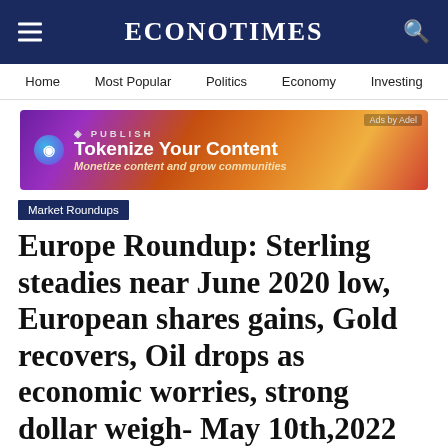EconoTimes
Home  Most Popular  Politics  Economy  Investing
[Figure (infographic): Advertisement banner for Publish0x: 'Tokenize Your Content — Monetize content and grow communities']
Market Roundups
Europe Roundup: Sterling steadies near June 2020 low, European shares gains, Gold recovers, Oil drops as economic worries, strong dollar weigh- May 10th,2022
Tue, May 10, 2022 9:17 AM